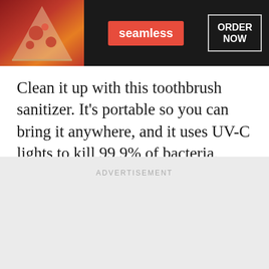[Figure (screenshot): Seamless food delivery advertisement banner with pizza image on left, red Seamless logo in center, and ORDER NOW button on right against dark background]
Clean it up with this toothbrush sanitizer. It's portable so you can bring it anywhere, and it uses UV-C lights to kill 99.9% of bacteria.
VIEW ON AMAZON
ADVERTISEMENT